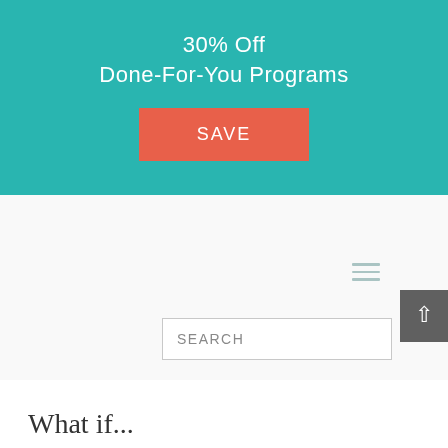30% Off
Done-For-You Programs
SAVE
[Figure (other): Hamburger menu icon with three horizontal lines in teal/muted color]
[Figure (other): Back to top button - dark gray square with upward arrow]
SEARCH
What if...